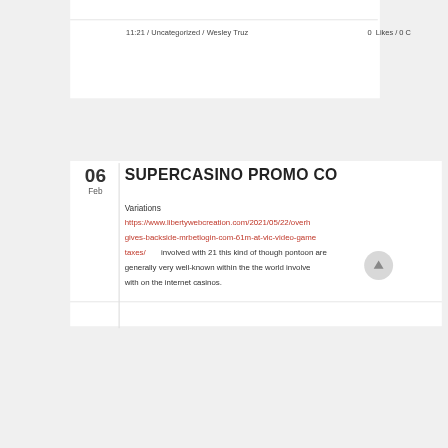11:21 / Uncategorized / Wesley Truz
0  Likes / 0 C
SUPERCASINO PROMO CO
06
Feb
Variations
https://www.libertywebcreation.com/2021/05/22/overh gives-backside-mrbetlogin-com-61m-at-vic-video-game taxes/ involved with 21 this kind of though pontoon are generally very well-known within the the world involved with on the internet casinos.